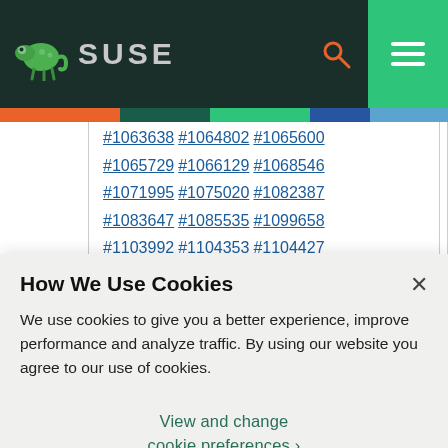SUSE navigation bar with logo, search and menu
#1063638 #1064802 #1065600 #1065729 #1066129 #1068546 #1071995 #1075020 #1082387 #1083647 #1085535 #1099658 #1103992 #1104353 #1104427 #1106011 #1106284 #1108838
How We Use Cookies
We use cookies to give you a better experience, improve performance and analyze traffic. By using our website you agree to our use of cookies.
View and change cookie preferences >